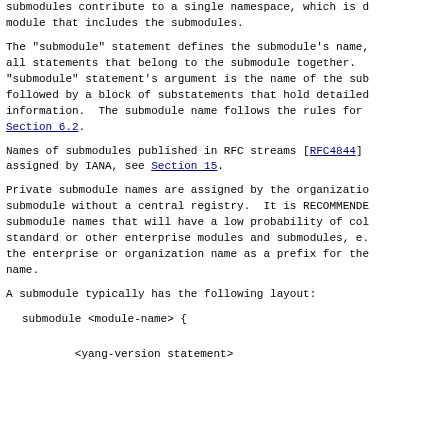submodules contribute to a single namespace, which is d module that includes the submodules.
The "submodule" statement defines the submodule's name, all statements that belong to the submodule together. "submodule" statement's argument is the name of the sub followed by a block of substatements that hold detailed information.  The submodule name follows the rules for Section 6.2.
Names of submodules published in RFC streams [RFC4844] assigned by IANA, see Section 15.
Private submodule names are assigned by the organizatio submodule without a central registry.  It is RECOMMENDE submodule names that will have a low probability of col standard or other enterprise modules and submodules, e. the enterprise or organization name as a prefix for the name.
A submodule typically has the following layout:
submodule <module-name> {

        <yang-version statement>